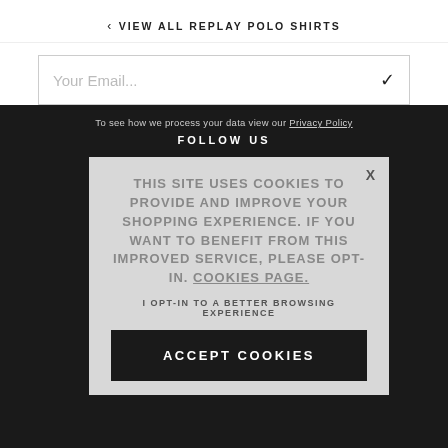‹ VIEW ALL REPLAY POLO SHIRTS
Your Email...
To see how we process your data view our Privacy Policy
FOLLOW US
THIS SITE USES COOKIES TO PROVIDE AND IMPROVE YOUR SHOPPING EXPERIENCE. IF YOU WANT TO BENEFIT FROM THIS IMPROVED SERVICE, PLEASE OPT-IN. COOKIES PAGE.
I OPT-IN TO A BETTER BROWSING EXPERIENCE
ACCEPT COOKIES
Klarna tags